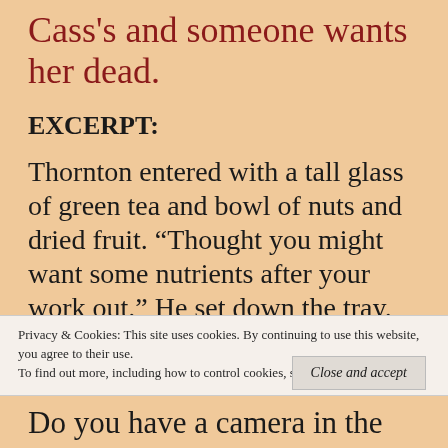Cass's and someone wants her dead.
EXCERPT:
Thornton entered with a tall glass of green tea and bowl of nuts and dried fruit. “Thought you might want some nutrients after your work out.” He set down the tray. “And for future references, there are extra slippers in the bathroom…
Do you have a camera in the
Privacy & Cookies: This site uses cookies. By continuing to use this website, you agree to their use.
To find out more, including how to control cookies, see here: Cookie Policy
Close and accept